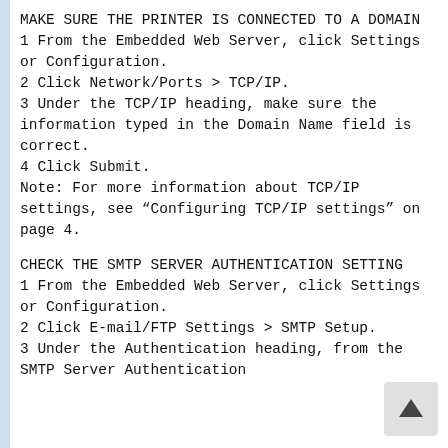MAKE SURE THE PRINTER IS CONNECTED TO A DOMAIN
1 From the Embedded Web Server, click Settings or Configuration.
2 Click Network/Ports > TCP/IP.
3 Under the TCP/IP heading, make sure the information typed in the Domain Name field is correct.
4 Click Submit.
Note: For more information about TCP/IP settings, see “Configuring TCP/IP settings” on page 4.
CHECK THE SMTP SERVER AUTHENTICATION SETTING
1 From the Embedded Web Server, click Settings or Configuration.
2 Click E-mail/FTP Settings > SMTP Setup.
3 Under the Authentication heading, from the SMTP Server Authentication